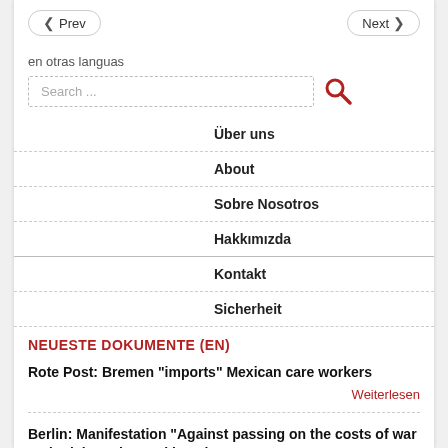< Prev    Next >
en otras languas
[Figure (screenshot): Search input box with dashed border and a red search icon button]
Über uns
About
Sobre Nosotros
Hakkımızda
Kontakt
Sicherheit
NEUESTE DOKUMENTE (EN)
Rote Post: Bremen "imports" Mexican care workers
Weiterlesen
Berlin: Manifestation "Against passing on the costs of war and crisis to the working class!"
Weiterlesen